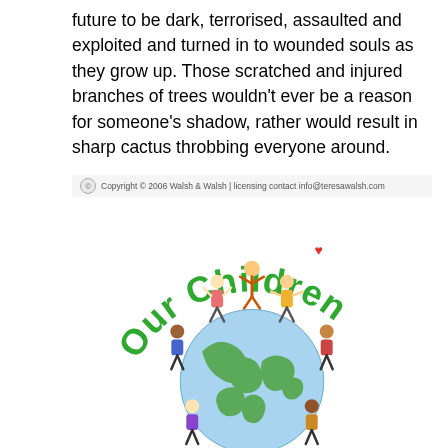future to be dark, terrorised, assaulted and exploited and turned in to wounded souls as they grow up. Those scratched and injured branches of trees wouldn't ever be a reason for someone's shadow, rather would result in sharp cactus throbbing everyone around.
[Figure (illustration): An illustration titled 'Our Children' showing diverse children of different ethnicities holding hands in a circle around a globe (Earth), with the text 'Our Children' in large green letters arcing over the top. A small red heart appears above the 'i' in Children. Copyright 2006 Walsh & Walsh watermark at top.]